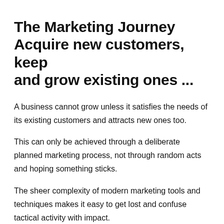The Marketing Journey Acquire new customers, keep and grow existing ones ...
A business cannot grow unless it satisfies the needs of its existing customers and attracts new ones too.
This can only be achieved through a deliberate planned marketing process, not through random acts and hoping something sticks.
The sheer complexity of modern marketing tools and techniques makes it easy to get lost and confuse tactical activity with impact.